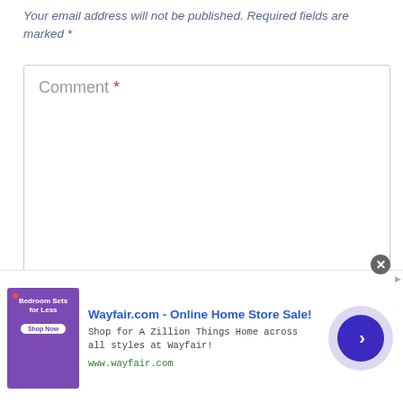Your email address will not be published. Required fields are marked *
[Figure (screenshot): Empty comment text area form field with placeholder text 'Comment *' and a resize handle at the bottom right corner]
[Figure (screenshot): Advertisement banner for Wayfair.com - Online Home Store Sale! with purple bedroom furniture image, ad text 'Shop for A Zillion Things Home across all styles at Wayfair!', URL www.wayfair.com, a close button, AdChoices icon, and a circular blue call-to-action button with a right arrow]